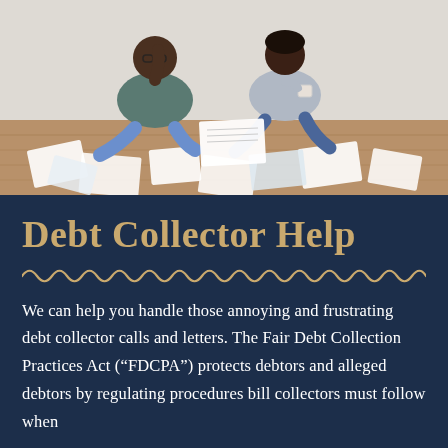[Figure (photo): Two people (a man and a woman) sitting on a wooden floor surrounded by papers and documents, looking stressed and reviewing bills together. The man has glasses and rests his head on his hand. The woman holds a coffee cup. Papers are spread all over the floor around them.]
Debt Collector Help
We can help you handle those annoying and frustrating debt collector calls and letters. The Fair Debt Collection Practices Act (“FDCPA”) protects debtors and alleged debtors by regulating procedures bill collectors must follow when